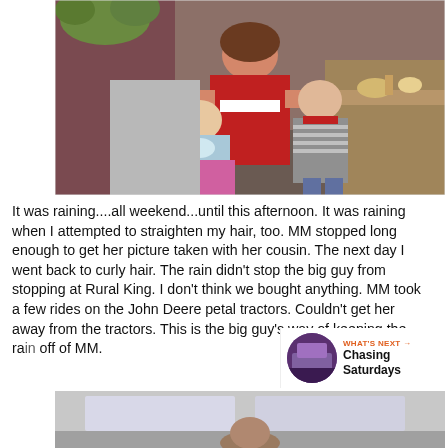[Figure (photo): A woman sitting with two small children/babies, one wearing a gray striped outfit and one in a light blue outfit, in what appears to be a restaurant or home setting.]
It was raining....all weekend...until this afternoon. It was raining when I attempted to straighten my hair, too. MM stopped long enough to get her picture taken with her cousin. The next day I went back to curly hair. The rain didn't stop the big guy from stopping at Rural King. I don't think we bought anything. MM took a few rides on the John Deere petal tractors. Couldn't get her away from the tractors. This is the big guy's way of keeping the rain off of MM.
[Figure (photo): Partial view of a second photo at the bottom of the page, appears to show a person indoors.]